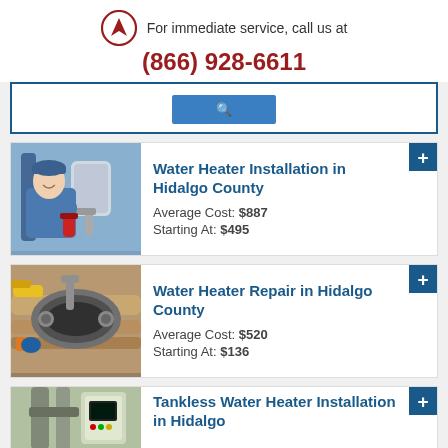For immediate service, call us at
(866) 928-6611
[Figure (other): Partial blue bordered box with a blue button visible]
[Figure (photo): Smiling plumber in blue uniform working on water heater pipes]
Water Heater Installation in Hidalgo County
Average Cost: $887
Starting At: $495
[Figure (photo): Close-up of water heater repair equipment and pipes with tools]
Water Heater Repair in Hidalgo County
Average Cost: $520
Starting At: $136
[Figure (photo): Partial view of tankless water heater installation equipment]
Tankless Water Heater Installation in Hidalgo